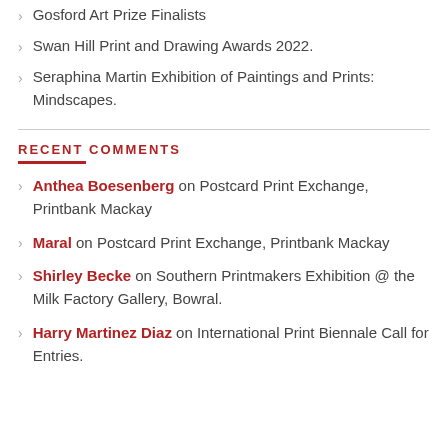Gosford Art Prize Finalists
Swan Hill Print and Drawing Awards 2022.
Seraphina Martin Exhibition of Paintings and Prints: Mindscapes.
RECENT COMMENTS
Anthea Boesenberg on Postcard Print Exchange, Printbank Mackay
Maral on Postcard Print Exchange, Printbank Mackay
Shirley Becke on Southern Printmakers Exhibition @ the Milk Factory Gallery, Bowral.
Harry Martinez Diaz on International Print Biennale Call for Entries.